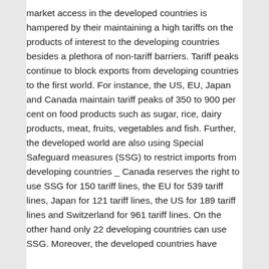market access in the developed countries is hampered by their maintaining a high tariffs on the products of interest to the developing countries besides a plethora of non-tariff barriers. Tariff peaks continue to block exports from developing countries to the first world. For instance, the US, EU, Japan and Canada maintain tariff peaks of 350 to 900 per cent on food products such as sugar, rice, dairy products, meat, fruits, vegetables and fish. Further, the developed world are also using Special Safeguard measures (SSG) to restrict imports from developing countries _ Canada reserves the right to use SSG for 150 tariff lines, the EU for 539 tariff lines, Japan for 121 tariff lines, the US for 189 tariff lines and Switzerland for 961 tariff lines. On the other hand only 22 developing countries can use SSG. Moreover, the developed countries have